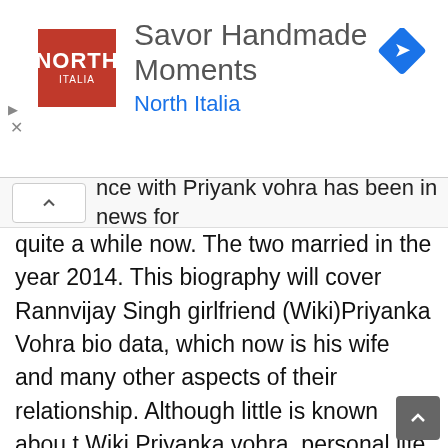[Figure (other): Advertisement banner for North Italia restaurant. Red square logo with 'NORTH ITALIA' text. Headline: 'Savor Handmade Moments', subtext: 'North Italia' in blue. Blue diamond navigation icon top right.]
nce with Priyank vohra has been in news for quite a while now. The two married in the year 2014. This biography will cover Rannvijay Singh girlfriend (Wiki)Priyanka Vohra bio data, which now is his wife and many other aspects of their relationship. Although little is known abou t Wiki Priyanka vohra personal life as she is not much of a celebrity as of now, Priyanka love life with Rannvijay Singh is pretty famous. As much fame she has received being the wife of Rannvijay Singh, she gained higher applauds for her beauty and simplicity. To see how lovable she is, find out the latest photos Priyanka Vohra images